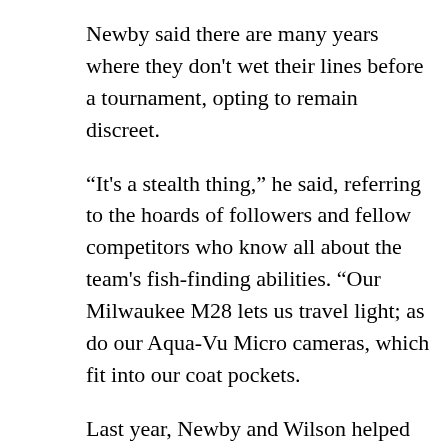Newby said there are many years where they don't wet their lines before a tournament, opting to remain discreet.
“It's a stealth thing,” he said, referring to the hoards of followers and fellow competitors who know all about the team's fish-finding abilities. “Our Milwaukee M28 lets us travel light; as do our Aqua-Vu Micro cameras, which fit into our coat pockets.
Last year, Newby and Wilson helped design a new Micro Mobile Pro Vu Case with Aqua-Vu, which allowed them to actually wear their camera around our necks, providing a huge time-saver without giving away strategy.